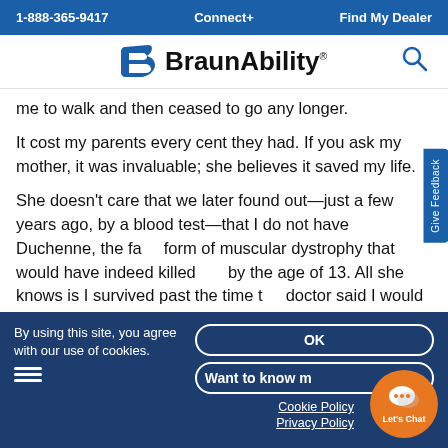1-888-365-9417   Connect+   Find My Dealer
[Figure (logo): BraunAbility logo with stylized B icon and search icon]
me to walk and then ceased to go any longer.
It cost my parents every cent they had. If you ask my mother, it was invaluable; she believes it saved my life.
She doesn’t care that we later found out—just a few years ago, by a blood test—that I do not have Duchenne, the fatal form of muscular dystrophy that would have indeed killed me by the age of 13. All she knows is I survived past the time the doctor said I would die. What’s more, I never got colds, measles, chickenpox, or any of the things my sister had, despite being in close contact with her at the house when she was infected with all of those illnesses. My mother says that alone was worth it.
By using this site, you agree with our use of cookies.
OK
Want to know more
Cookie Policy
Privacy Policy